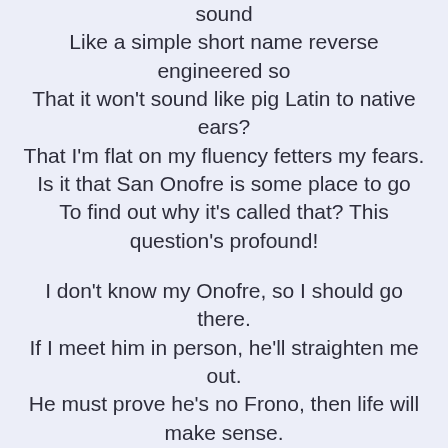sound
Like a simple short name reverse engineered so
That it won't sound like pig Latin to native ears?
That I'm flat on my fluency fetters my fears.
Is it that San Onofre is some place to go
To find out why it's called that? This question's profound!

I don't know my Onofre, so I should go there.
If I meet him in person, he'll straighten me out.
He must prove he's no Frono, then life will make sense.
I will return to Kansas not feeling so dense.
Linguistically enlightened, I'll know all about